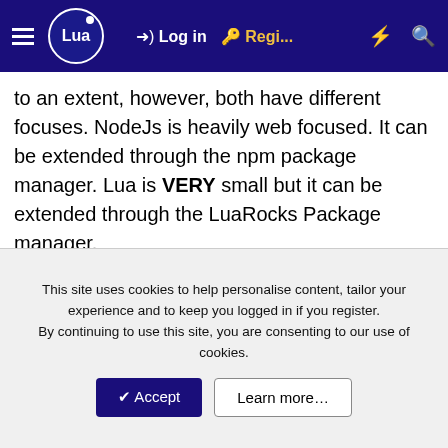Lua | Log in | Regi... | ⚡ | 🔍
to an extent, however, both have different focuses. NodeJs is heavily web focused. It can be extended through the npm package manager. Lua is VERY small but it can be extended through the LuaRocks Package manager.
Javascript is a better language to learn if you want to do web stuff. Period. If you're young and you want to learn to extend video games or you play Roblox, Lua is a good choice. If you want a general scripting language Lua could be a good choice, but it requires much more work to be useful compared to something like Python or Ruby. I like Ruby, but haven't done much Python. Python is by far the most popular scripting language right now for general desktop scripting.
This site uses cookies to help personalise content, tailor your experience and to keep you logged in if you register.
By continuing to use this site, you are consenting to our use of cookies.